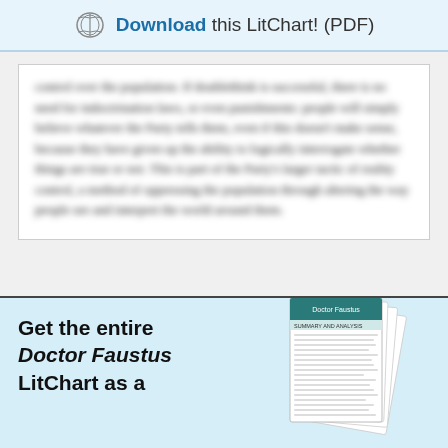Download this LitChart! (PDF)
control over the population. If doublethink is successful, there is no need for indoctrination laws, or even punishments: people will simply believe whatever the Party tells them, even if this doesn't make sense, because they have given up the ability to logically interrogate whether things are true or not. This is part of the Party's larger tactic of reality control, a method of oppressing the population through altering the way people see and interpret the world around them.
Get the entire Doctor Faustus LitChart as a